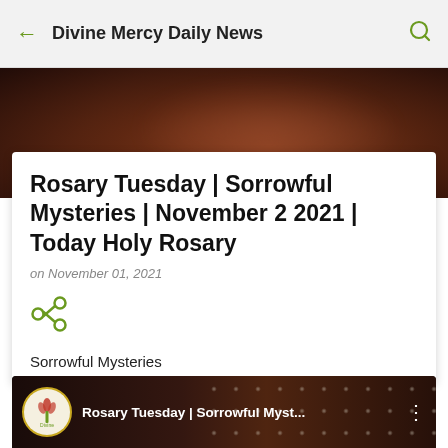Divine Mercy Daily News
[Figure (photo): Blurred background hero image with dark brown tones, appears to show rosary beads in dim lighting]
Rosary Tuesday | Sorrowful Mysteries | November 2 2021 | Today Holy Rosary
on November 01, 2021
[Figure (illustration): Green share icon (network/share symbol)]
Sorrowful Mysteries
[Figure (screenshot): Video thumbnail showing circular logo and title: Rosary Tuesday | Sorrowful Myst... with vertical dots menu icon, dark background with rosary beads visible]